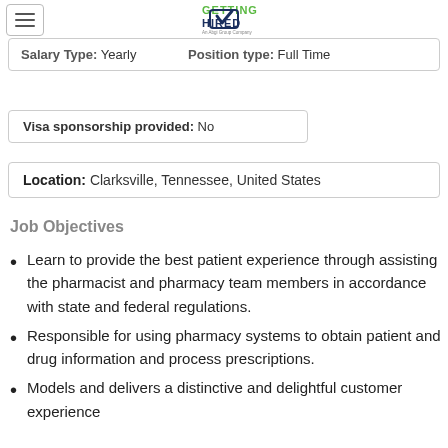[Figure (logo): Getting Hired logo - An Abgi Group Company]
Salary Type: Yearly    Position type: Full Time
Visa sponsorship provided: No
Location: Clarksville, Tennessee, United States
Job Objectives
Learn to provide the best patient experience through assisting the pharmacist and pharmacy team members in accordance with state and federal regulations.
Responsible for using pharmacy systems to obtain patient and drug information and process prescriptions.
Models and delivers a distinctive and delightful customer experience